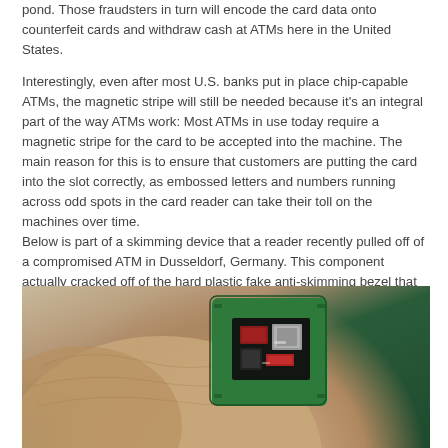pond. Those fraudsters in turn will encode the card data onto counterfeit cards and withdraw cash at ATMs here in the United States.
Interestingly, even after most U.S. banks put in place chip-capable ATMs, the magnetic stripe will still be needed because it's an integral part of the way ATMs work: Most ATMs in use today require a magnetic stripe for the card to be accepted into the machine. The main reason for this is to ensure that customers are putting the card into the slot correctly, as embossed letters and numbers running across odd spots in the card reader can take their toll on the machines over time.
Below is part of a skimming device that a reader recently pulled off of a compromised ATM in Dusseldorf, Germany. This component actually cracked off of the hard plastic fake anti-skimming bezel that was placed by a fraudster over top of the card acceptance device of an NCR cash machine there.
[Figure (photo): Close-up photo of a small green PCB skimming device chip component held between fingers. The chip has a dark cavity showing internal components including red and silver/gray electronic parts.]